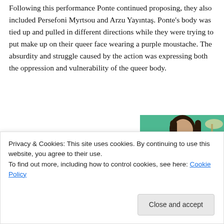Following this performance Ponte continued proposing, they also included Persefoni Myrtsou and Arzu Yayıntaş. Ponte's body was tied up and pulled in different directions while they were trying to put make up on their queer face wearing a purple moustache. The absurdity and struggle caused by the action was expressing both the oppression and vulnerability of the queer body.
[Figure (other): Advertisement banner reading 'Content Analytics Made Easy' with a photo of a woman in a green sweater working on a laptop.]
Privacy & Cookies: This site uses cookies. By continuing to use this website, you agree to their use.
To find out more, including how to control cookies, see here: Cookie Policy